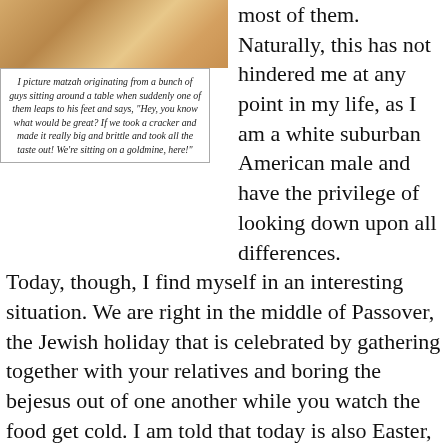[Figure (photo): Photo of matzah bread]
I picture matzah originating from a bunch of guys sitting around a table when suddenly one of them leaps to his feet and says, "Hey, you know what would be great? If we took a cracker and made it really big and brittle and took all the taste out! We're sitting on a goldmine, here!"
most of them. Naturally, this has not hindered me at any point in my life, as I am a white suburban American male and have the privilege of looking down upon all differences.
Today, though, I find myself in an interesting situation. We are right in the middle of Passover, the Jewish holiday that is celebrated by gathering together with your relatives and boring the bejesus out of one another while you watch the food get cold. I am told that today is also Easter, one of those annoying holidays that is Christian, so we should get the day off from work, but it's always on a Sunday, so no dice. Now, I know the story of Passover like the back of my hand, which is coincidentally tattooed with the entire story of Passover. For those of you who never watched a Charlton Heston movie, here's